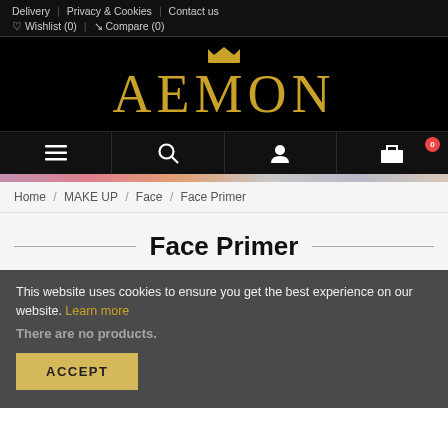Delivery | Privacy & Cookies | Contact us | ♡ Wishlist (0) | ⇄ Compare (0)
[Figure (logo): AEMON brand logo in gold serif font with decorative crown above the M, on black background]
Menu | Search | Account | Cart (0)
Home / MAKE UP / Face / Face Primer
Face Primer
This website uses cookies to ensure you get the best experience on our website. Learn more
There are no products.
ACCEPT